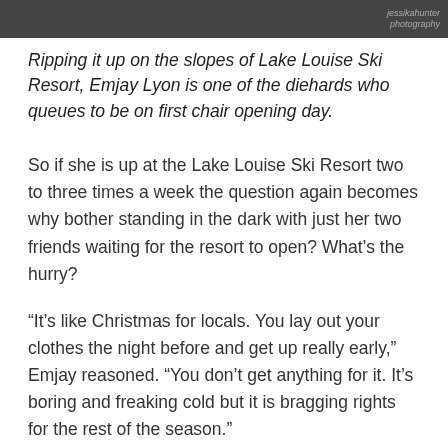[Figure (photo): Top strip of a ski slope photo, partially visible, with a watermark reading 'jessikahunter photography' in the upper right corner.]
Ripping it up on the slopes of Lake Louise Ski Resort, Emjay Lyon is one of the diehards who queues to be on first chair opening day.
So if she is up at the Lake Louise Ski Resort two to three times a week the question again becomes why bother standing in the dark with just her two friends waiting for the resort to open?  What's the hurry?
“It’s like Christmas for locals. You lay out your clothes the night before and get up really early,” Emjay reasoned. “You don’t get anything for it.  It’s boring and freaking cold but it is bragging rights for the rest of the season.”
She describes setting up to wait with camp chairs, sleeping bags, and a supply of redbulls and handwarmers.  She laughs when she remembers digging